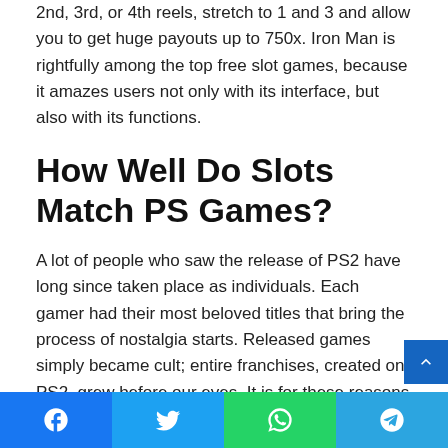2nd, 3rd, or 4th reels, stretch to 1 and 3 and allow you to get huge payouts up to 750x. Iron Man is rightfully among the top free slot games, because it amazes users not only with its interface, but also with its functions.
How Well Do Slots Match PS Games?
A lot of people who saw the release of PS2 have long since taken place as individuals. Each gamer had their most beloved titles that bring the process of nostalgia starts. Released games simply became cult; entire franchises, created on PS2, grew before our eyes. It is for these reasons that providers of casinos are directly interested in using PS2 games as a basis for creating
Facebook | Twitter | WhatsApp | Telegram